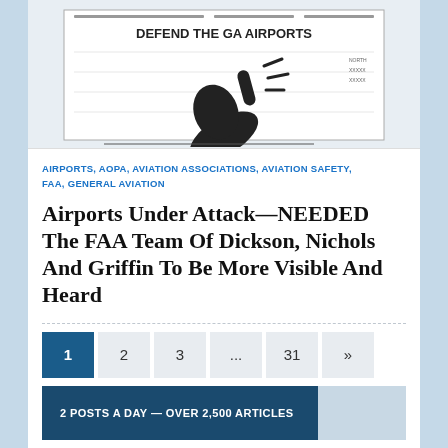[Figure (illustration): Black and white image showing 'DEFEND THE GA AIRPORTS' text with a hand illustration pointing or gesturing, appearing to be a map/chart background]
AIRPORTS, AOPA, AVIATION ASSOCIATIONS, AVIATION SAFETY, FAA, GENERAL AVIATION
Airports Under Attack—NEEDED The FAA Team Of Dickson, Nichols And Griffin To Be More Visible And Heard
1  2  3  ...  31  »
2 POSTS A DAY — OVER 2,500 ARTICLES
Daily Aviation Insight by FAA Experts